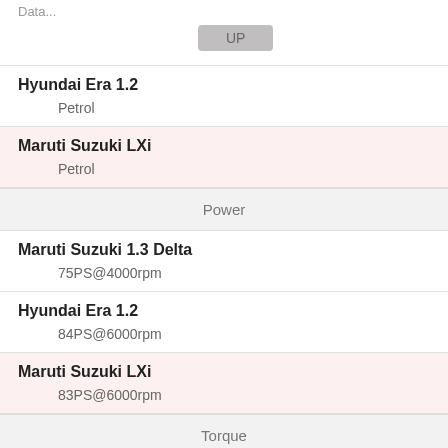Data...
UP
Hyundai Era 1.2
Petrol
Maruti Suzuki LXi
Petrol
Power
Maruti Suzuki 1.3 Delta
75PS@4000rpm
Hyundai Era 1.2
84PS@6000rpm
Maruti Suzuki LXi
83PS@6000rpm
Torque